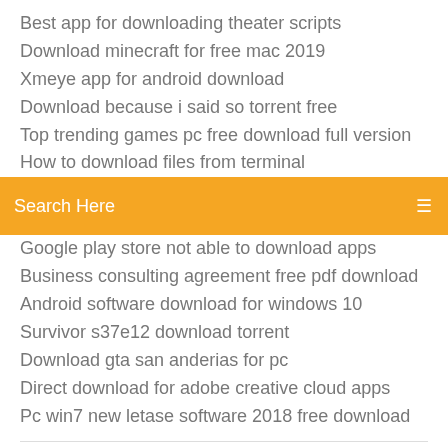Best app for downloading theater scripts
Download minecraft for free mac 2019
Xmeye app for android download
Download because i said so torrent free
Top trending games pc free download full version
How to download files from terminal
[Figure (screenshot): Orange/amber search bar with text 'Search Here' and a menu icon on the right]
Google play store not able to download apps
Business consulting agreement free pdf download
Android software download for windows 10
Survivor s37e12 download torrent
Download gta san anderias for pc
Direct download for adobe creative cloud apps
Pc win7 new letase software 2018 free download
I was driving past my local library and I saw a sign out front plugging an event where you could "Learn to check out books on